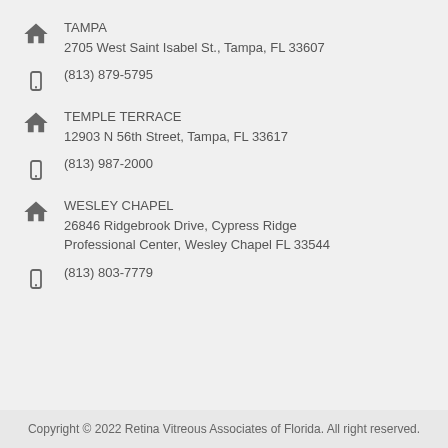TAMPA
2705 West Saint Isabel St., Tampa, FL 33607
(813) 879-5795
TEMPLE TERRACE
12903 N 56th Street, Tampa, FL 33617
(813) 987-2000
WESLEY CHAPEL
26846 Ridgebrook Drive, Cypress Ridge Professional Center, Wesley Chapel FL 33544
(813) 803-7779
Copyright © 2022 Retina Vitreous Associates of Florida. All right reserved.